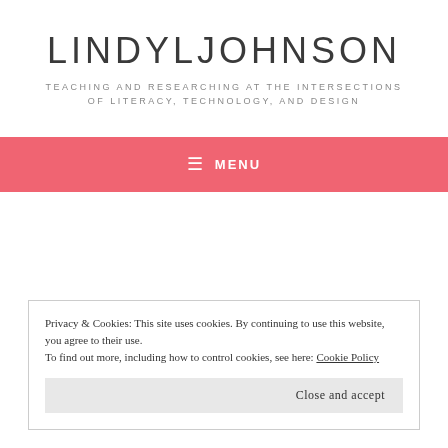LINDYLJOHNSON
TEACHING AND RESEARCHING AT THE INTERSECTIONS OF LITERACY, TECHNOLOGY, AND DESIGN
≡  MENU
Privacy & Cookies: This site uses cookies. By continuing to use this website, you agree to their use.
To find out more, including how to control cookies, see here: Cookie Policy
Close and accept